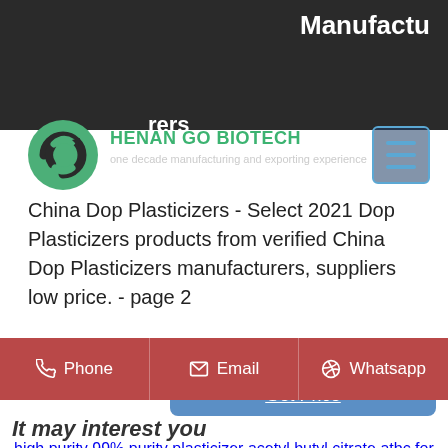Manufactu rers
[Figure (logo): Henan Go Biotech circular green logo with company name and tagline 'one decade manufacturing and exporting experience']
China Dop Plasticizers - Select 2021 Dop Plasticizers products from verified China Dop Plasticizers manufacturers, suppliers low price. - page 2
Send Inquiry
Get Price
high purity 99% purity plasticizer acetyl butyl citrate atbc for professional supplier
food grade dioctyl adipate doa for pvc plasticizer
Phone   Email   Whatsapp
It may interest you